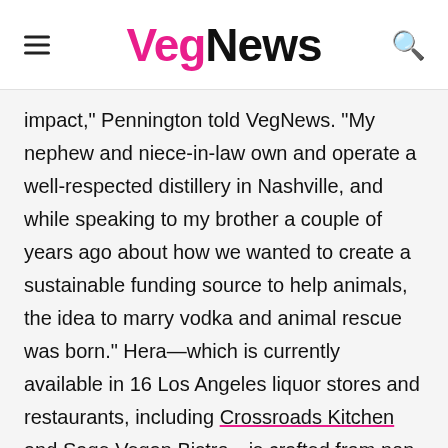VegNews
impact," Pennington told VegNews. "My nephew and niece-in-law own and operate a well-respected distillery in Nashville, and while speaking to my brother a couple of years ago about how we wanted to create a sustainable funding source to help animals, the idea to marry vodka and animal rescue was born." Hera—which is currently available in 16 Los Angeles liquor stores and restaurants, including Crossroads Kitchen and Sage Vegan Bistro—is crafted from non-GMO, organic wheat and distilled seven times before being slow-drip filtered through walnut husks. Currently, $1 from every bottle sold goes to benefit rescue organizations in the communities in which it is sold, with the